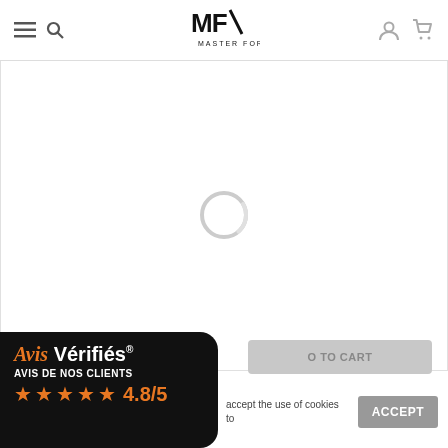Master Forest - Navigation header with hamburger menu, search, logo, user account, and cart icons
[Figure (screenshot): Product image loading area with a circular loading spinner on white background]
SHEET METAL FENDER FLARE, REAR RIGHT, SUZUKI SANTANA SAMURAI
[Figure (logo): Avis Verifes badge overlay with star rating 4.8/5 and AVIS DE NOS CLIENTS label]
accept the use of cookies to
ACCEPT